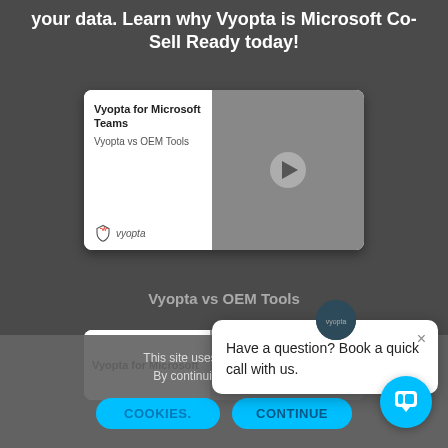your data. Learn why Vyopta is Microsoft Co-Sell Ready today!
[Figure (screenshot): Video thumbnail showing a man with beard and glasses in a red shirt. Left panel shows text: 'Vyopta for Microsoft Teams' and 'Vyopta vs OEM Tools' with Vyopta logo. Right panel shows the person's video with a play button overlay.]
Vyopta vs OEM Tools
[Figure (screenshot): Second video card thumbnail showing 'Vyopta for Microsoft' title on the left panel and a video thumbnail on the right.]
This site uses cookies to pro... By continuing to use Vyo...
Have a question? Book a quick call with us.
COOKIES.
CONTINUE